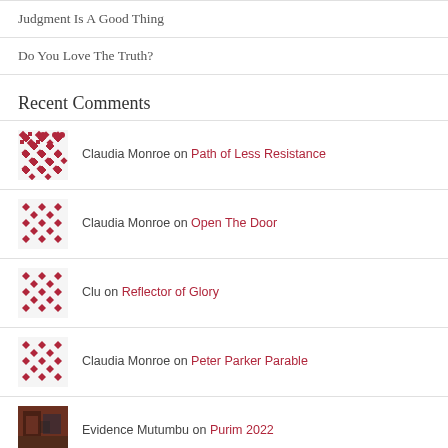Judgment Is A Good Thing
Do You Love The Truth?
Recent Comments
Claudia Monroe on Path of Less Resistance
Claudia Monroe on Open The Door
Clu on Reflector of Glory
Claudia Monroe on Peter Parker Parable
Evidence Mutumbu on Purim 2022